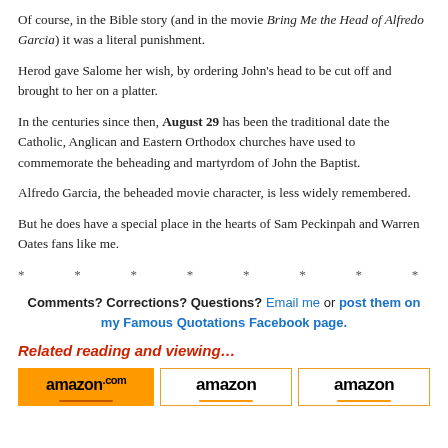Of course, in the Bible story (and in the movie Bring Me the Head of Alfredo Garcia) it was a literal punishment.
Herod gave Salome her wish, by ordering John's head to be cut off and brought to her on a platter.
In the centuries since then, August 29 has been the traditional date the Catholic, Anglican and Eastern Orthodox churches have used to commemorate the beheading and martyrdom of John the Baptist.
Alfredo Garcia, the beheaded movie character, is less widely remembered.
But he does have a special place in the hearts of Sam Peckinpah and Warren Oates fans like me.
* * * * * * * * * *
Comments? Corrections? Questions? Email me or post them on my Famous Quotations Facebook page.
Related reading and viewing…
[Figure (logo): Three Amazon logos/buttons side by side]